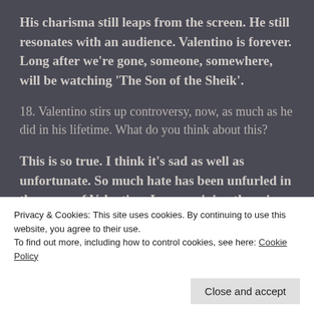His charisma still leaps from the screen. He still resonates with an audience. Valentino is forever. Long after we're gone, someone, somewhere, will be watching 'The Son of the Sheik'.
18. Valentino stirs up controversy, now, as much as he did in his lifetime. What do you think about this?
This is so true. I think it's sad as well as unfortunate. So much hate has been unfurled in the name of Valentino. In my opinion there is pure fiction being
Privacy & Cookies: This site uses cookies. By continuing to use this website, you agree to their use.
To find out more, including how to control cookies, see here: Cookie Policy
Close and accept
within the Valentino Community